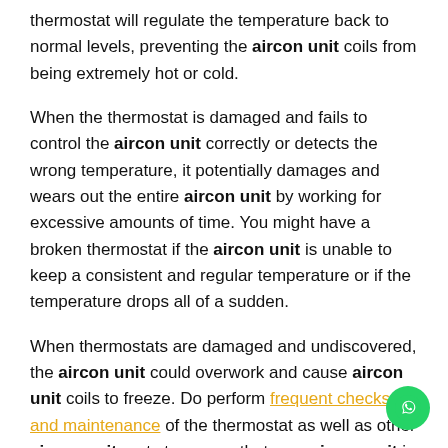thermostat will regulate the temperature back to normal levels, preventing the aircon unit coils from being extremely hot or cold.
When the thermostat is damaged and fails to control the aircon unit correctly or detects the wrong temperature, it potentially damages and wears out the entire aircon unit by working for excessive amounts of time. You might have a broken thermostat if the aircon unit is unable to keep a consistent and regular temperature or if the temperature drops all of a sudden.
When thermostats are damaged and undiscovered, the aircon unit could overwork and cause aircon unit coils to freeze. Do perform frequent checks and maintenance of the thermostat as well as other aircon unit parts to ensure that your aircon unit is in good condition to function optimally.